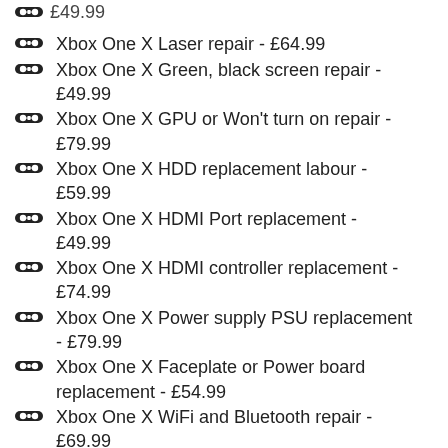£49.99
Xbox One X Laser repair - £64.99
Xbox One X Green, black screen repair - £49.99
Xbox One X GPU or Won't turn on repair - £79.99
Xbox One X HDD replacement labour - £59.99
Xbox One X HDMI Port replacement - £49.99
Xbox One X HDMI controller replacement - £74.99
Xbox One X Power supply PSU replacement - £79.99
Xbox One X Faceplate or Power board replacement - £54.99
Xbox One X WiFi and Bluetooth repair - £69.99
Xbox One X Broken fan repair - £59.99